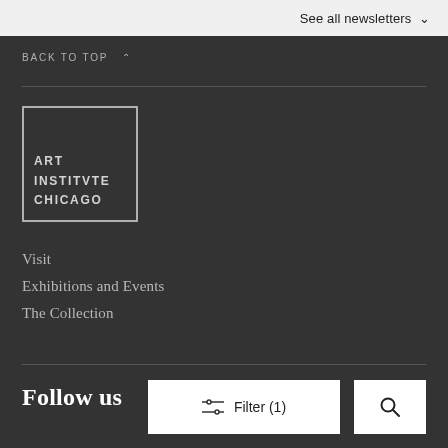See all newsletters ∨
BACK TO TOP ∧
[Figure (logo): Art Institute Chicago logo in white text on dark background inside a rectangular border]
Visit
Exhibitions and Events
The Collection
Follow us
Filter (1)
Facebook